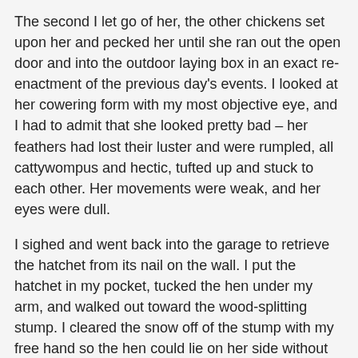The second I let go of her, the other chickens set upon her and pecked her until she ran out the open door and into the outdoor laying box in an exact re-enactment of the previous day's events. I looked at her cowering form with my most objective eye, and I had to admit that she looked pretty bad – her feathers had lost their luster and were rumpled, all cattywompus and hectic, tufted up and stuck to each other. Her movements were weak, and her eyes were dull.
I sighed and went back into the garage to retrieve the hatchet from its nail on the wall. I put the hatchet in my pocket, tucked the hen under my arm, and walked out toward the wood-splitting stump. I cleared the snow off of the stump with my free hand so the hen could lie on her side without having to put her head in the snow. I placed her down on the stump in order to get my hatchet out of my pocket. She sat, very still, and utterly silent. Chickens tend to keep up a stream, of little clucks and sighs, but I had not heard her make a sound in days.
I lay her down on her side, stretched out her neck, and held